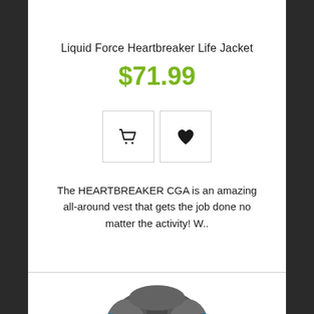Liquid Force Heartbreaker Life Jacket
$71.99
[Figure (screenshot): Two square icon buttons: a shopping cart icon and a heart/wishlist icon, each in a bordered square box]
The HEARTBREAKER CGA is an amazing all-around vest that gets the job done no matter the activity! W..
[Figure (photo): Partial photo of a life jacket (Liquid Force Heartbreaker) in grey and blue colors, cropped at bottom of page]